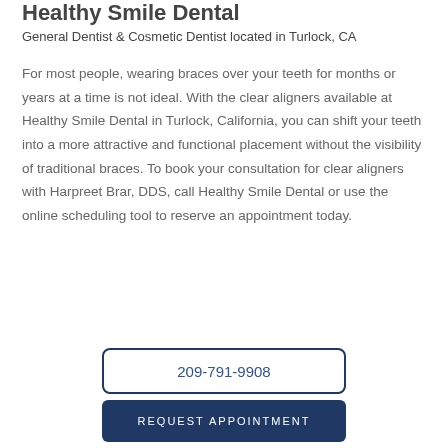Healthy Smile Dental
General Dentist & Cosmetic Dentist located in Turlock, CA
For most people, wearing braces over your teeth for months or years at a time is not ideal. With the clear aligners available at Healthy Smile Dental in Turlock, California, you can shift your teeth into a more attractive and functional placement without the visibility of traditional braces. To book your consultation for clear aligners with Harpreet Brar, DDS, call Healthy Smile Dental or use the online scheduling tool to reserve an appointment today.
209-791-9908
REQUEST APPOINTMENT